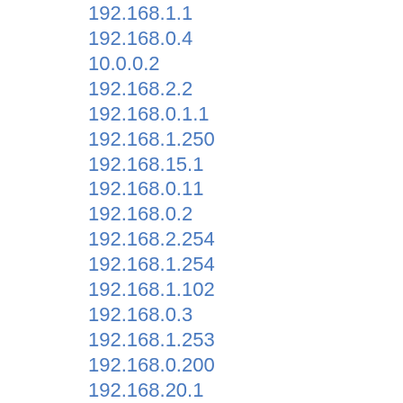192.168.1.1
192.168.0.4
10.0.0.2
192.168.2.2
192.168.0.1.1
192.168.1.250
192.168.15.1
192.168.0.11
192.168.0.2
192.168.2.254
192.168.1.254
192.168.1.102
192.168.0.3
192.168.1.253
192.168.0.200
192.168.20.1
192.168.1.2
192.168.254.254